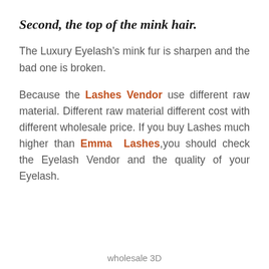Second,  the top of the mink hair.
The Luxury Eyelash’s mink fur is sharpen and the bad one is broken.
Because the Lashes Vendor use different raw material. Different raw material different cost with different wholesale price. If you buy Lashes much higher than Emma Lashes,you should check the Eyelash Vendor and the quality of your Eyelash.
wholesale 3D